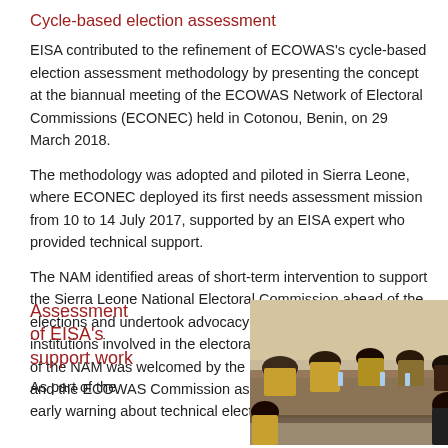Cycle-based election assessment
EISA contributed to the refinement of ECOWAS's cycle-based election assessment methodology by presenting the concept at the biannual meeting of the ECOWAS Network of Electoral Commissions (ECONEC) held in Cotonou, Benin, on 29 March 2018.
The methodology was adopted and piloted in Sierra Leone, where ECONEC deployed its first needs assessment mission from 10 to 14 July 2017, supported by an EISA expert who provided technical support.
The NAM identified areas of short-term intervention to support the Sierra Leone National Electoral Commission ahead of the elections and undertook advocacy visits to government institutions involved in the electoral process. The deployment of the NAM was welcomed by the Sierra Leonean authorities and the ECOWAS Commission as a timely contribution to early warning about technical electoral issues in the region.
Assessment of EISA's support work
As part of the
[Figure (photo): Photo of people seated around a conference table in a meeting room, appearing to be a formal meeting or workshop setting with water bottles on the table.]